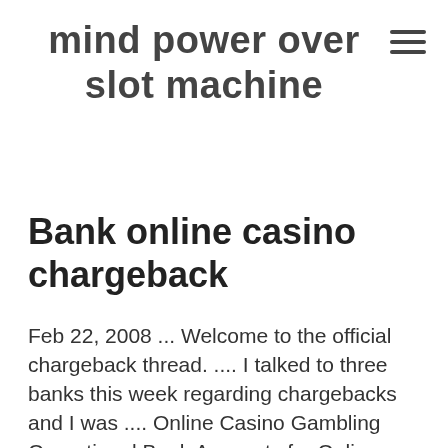mind power over slot machine
Bank online casino chargeback
Feb 22, 2008 ... Welcome to the official chargeback thread. .... I talked to three banks this week regarding chargebacks and I was .... Online Casino Gambling Operational Bank Accounts for Online Gaming companies & Online Gaming Merchant Accounts - assistance with the opening process for online gaming